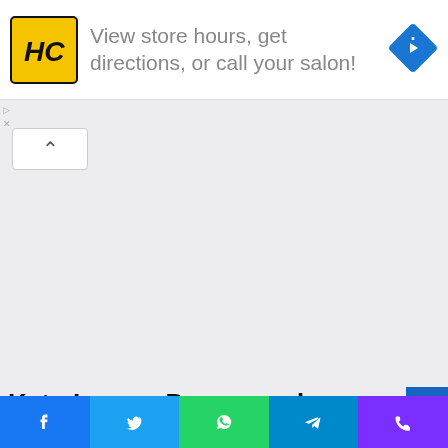[Figure (other): Advertisement banner: HC logo (yellow square with black HC letters), text 'View store hours, get directions, or call your salon!', blue diamond navigation icon]
[Figure (photo): Photo of keto lemon poppyseed zucchini bread slices on a grey-green plate, with a salt shaker in the background on a white wooden surface]
Keto Lemon Poppyseed Zucchini Bread
[Figure (other): Social sharing bottom bar with Facebook, Twitter, WhatsApp, Telegram, and phone icons]